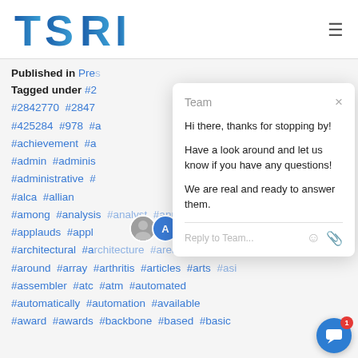[Figure (logo): TSRI logo in blue gradient lettering, large sans-serif font]
Published in Press
Tagged under #2 #2842770 #2847 #425284 #978 #a #achievement #a #admin #adminis #administrative # #alca #allian #among #analysis #analyst #announcement #applauds #appl #architectural #a #architecture #area #army #around #array #arthritis #articles #arts #asi #assembler #atc #atm #automated #automatically #automation #available #award #awards #backbone #based #basic
[Figure (screenshot): Chat popup overlay with Team greeting message: Hi there, thanks for stopping by! Have a look around and let us know if you have any questions! We are real and ready to answer them. Reply to Team input field with emoji and attachment icons.]